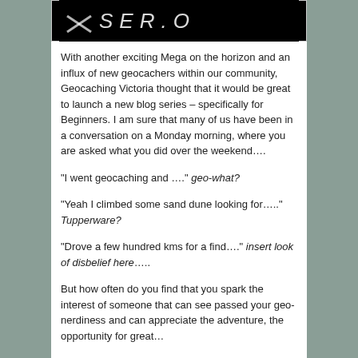[Figure (photo): Black background image with handwritten white text partially visible, appears to show stylized letters]
With another exciting Mega on the horizon and an influx of new geocachers within our community, Geocaching Victoria thought that it would be great to launch a new blog series – specifically for Beginners. I am sure that many of us have been in a conversation on a Monday morning, where you are asked what you did over the weekend….
“I went geocaching and ….” geo-what?
“Yeah I climbed some sand dune looking for…..” Tupperware?
“Drove a few hundred kms for a find….” insert look of disbelief here…..
But how often do you find that you spark the interest of someone that can see passed your geo-nerdiness and can appreciate the adventure, the opportunity for great…